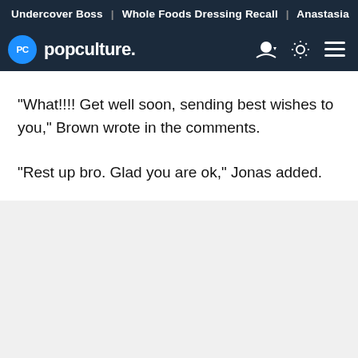Undercover Boss | Whole Foods Dressing Recall | Anastasia
[Figure (logo): PopCulture.com logo with PC circle icon and navigation icons]
"What!!!! Get well soon, sending best wishes to you," Brown wrote in the comments.
"Rest up bro. Glad you are ok," Jonas added.